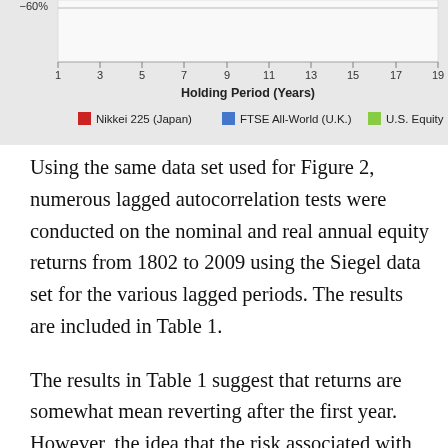[Figure (continuous-plot): Bottom portion of a line chart showing holding period returns (years) on x-axis (1 to 19) and percentage on y-axis (showing -60% label). Legend shows three series: Nikkei 225 (Japan) in red, FTSE All-World (U.K.) in blue, U.S. Equity in green. X-axis label: Holding Period (Years).]
Using the same data set used for Figure 2, numerous lagged autocorrelation tests were conducted on the nominal and real annual equity returns from 1802 to 2009 using the Siegel data set for the various lagged periods. The results are included in Table 1.
The results in Table 1 suggest that returns are somewhat mean reverting after the first year. However, the idea that the risk associated with investing in equities decreases over time is